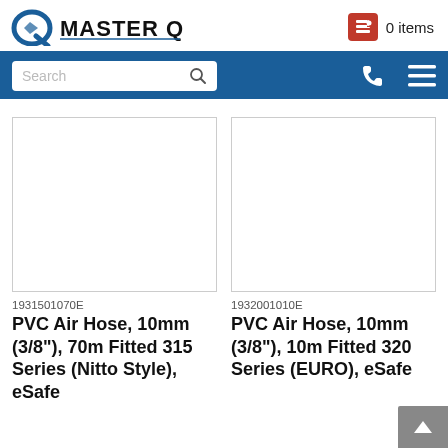MASTER Q — 0 items
[Figure (screenshot): Master Q logo with stylized Q arrow icon and bold MASTER Q text]
0 items
Search
1931501070E
PVC Air Hose, 10mm (3/8"), 70m Fitted 315 Series (Nitto Style), eSafe
1932001010E
PVC Air Hose, 10mm (3/8"), 10m Fitted 320 Series (EURO), eSafe